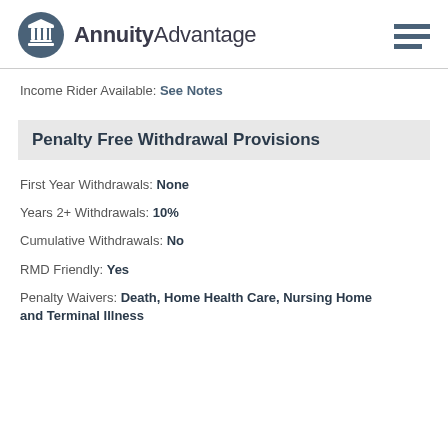AnnuityAdvantage
Income Rider Available: See Notes
Penalty Free Withdrawal Provisions
First Year Withdrawals: None
Years 2+ Withdrawals: 10%
Cumulative Withdrawals: No
RMD Friendly: Yes
Penalty Waivers: Death, Home Health Care, Nursing Home and Terminal Illness